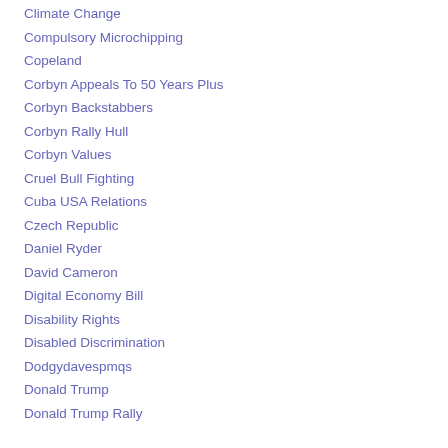Climate Change
Compulsory Microchipping
Copeland
Corbyn Appeals To 50 Years Plus
Corbyn Backstabbers
Corbyn Rally Hull
Corbyn Values
Cruel Bull Fighting
Cuba USA Relations
Czech Republic
Daniel Ryder
David Cameron
Digital Economy Bill
Disability Rights
Disabled Discrimination
Dodgydavespmqs
Donald Trump
Donald Trump Rally